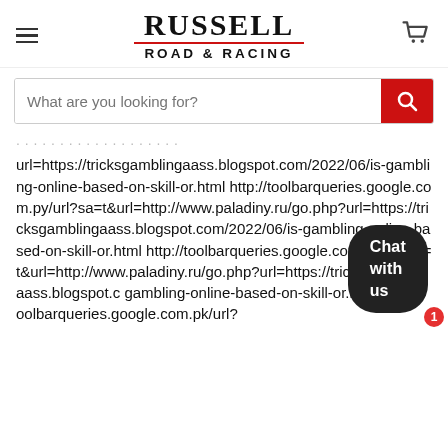RUSSELL ROAD & RACING
url=https://tricksgamblingaass.blogspot.com/2022/06/is-gambling-online-based-on-skill-or.html http://toolbarqueries.google.com.py/url?sa=t&url=http://www.paladiny.ru/go.php?url=https://tricksgamblingaass.blogspot.com/2022/06/is-gambling-online-based-on-skill-or.html http://toolbarqueries.google.com.pr/url?sa=t&url=http://www.paladiny.ru/go.php?url=https://tricksgamblingaass.blogspot.c gambling-online-based-on-skill-or.html http://toolbarqueries.google.com.pk/url?